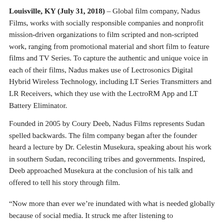Louisville, KY (July 31, 2018) – Global film company, Nadus Films, works with socially responsible companies and nonprofit mission-driven organizations to film scripted and non-scripted work, ranging from promotional material and short film to feature films and TV Series. To capture the authentic and unique voice in each of their films, Nadus makes use of Lectrosonics Digital Hybrid Wireless Technology, including LT Series Transmitters and LR Receivers, which they use with the LectroRM App and LT Battery Eliminator.
Founded in 2005 by Coury Deeb, Nadus Films represents Sudan spelled backwards. The film company began after the founder heard a lecture by Dr. Celestin Musekura, speaking about his work in southern Sudan, reconciling tribes and governments. Inspired, Deeb approached Musekura at the conclusion of his talk and offered to tell his story through film.
“Now more than ever we’re inundated with what is needed globally because of social media. It struck me after listening to